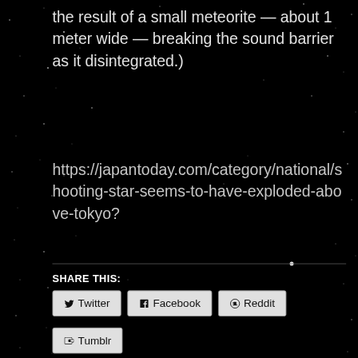the result of a small meteorite — about 1 meter wide — breaking the sound barrier as it disintegrated.)
https://japantoday.com/category/national/shooting-star-seems-to-have-exploded-above-tokyo?
SHARE THIS:
Twitter
Facebook
Reddit
Tumblr
Loading...